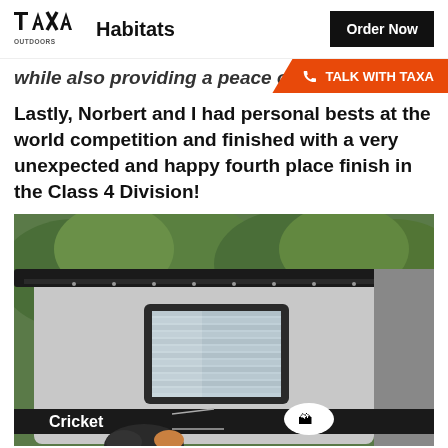TAXA OUTDOORS Habitats | Order Now
while also providing a peace of
TALK WITH TAXA
Lastly, Norbert and I had personal bests at the world competition and finished with a very unexpected and happy fourth place finish in the Class 4 Division!
[Figure (photo): Photo of a TAXA Cricket trailer exterior showing the rear/side with a window, 'Cricket' logo, and a dog partially visible at the bottom, with green trees in the background.]